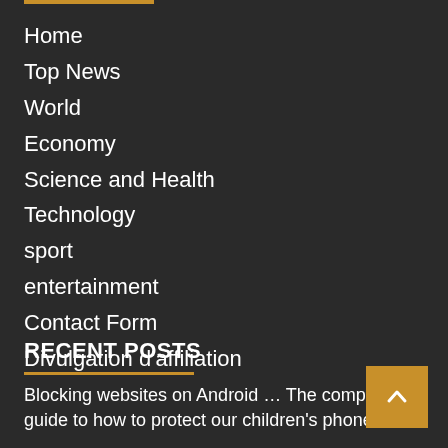Home
Top News
World
Economy
Science and Health
Technology
sport
entertainment
Contact Form
Divulgation d'affiliation
RECENT POSTS
Blocking websites on Android … The complete guide to how to protect our children's phones